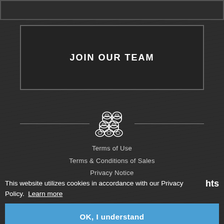JOIN OUR TEAM
[Figure (logo): Company log icon showing stacked cylindrical logs/rolls arranged in a pyramid, rendered in white outline style]
Terms of Use
Terms & Conditions of Sales
Privacy Notice
This website utilizes cookies in accordance with our Privacy Policy. Learn more
hts
OK, I understand